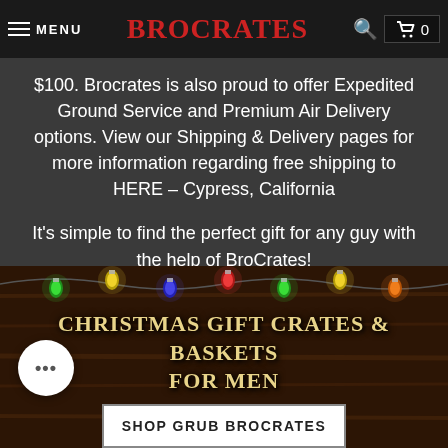MENU | BROCRATES | search | cart 0
$100. Brocrates is also proud to offer Expedited Ground Service and Premium Air Delivery options. View our Shipping & Delivery pages for more information regarding free shipping to HERE – Cypress, California
It's simple to find the perfect gift for any guy with the help of BroCrates!
[Figure (photo): Christmas lights banner image with colorful LED lights strung across a wooden background]
CHRISTMAS GIFT CRATES & BASKETS FOR MEN
SHOP GRUB BROCRATES